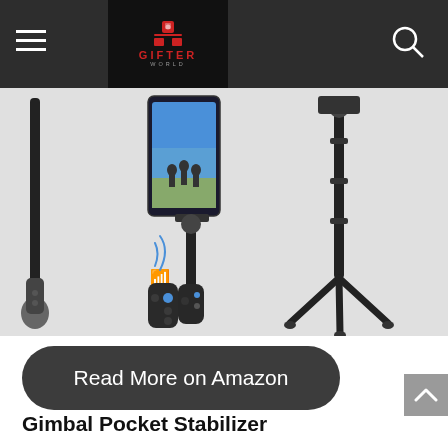GIFTER WORLD
[Figure (photo): Product photo of a selfie stick / tripod with bluetooth remote control and phone mount, shown in multiple configurations: extended selfie stick, compact tripod mode, and standalone tripod mode. Device is black.]
Read More on Amazon
Gimbal Pocket Stabilizer
This stabilizer helps you take smooth video while moving. It is great for filming sports, kids, or just